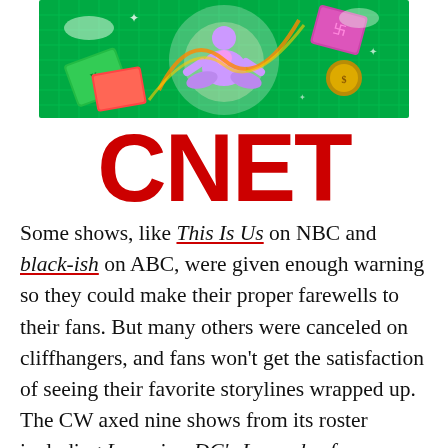[Figure (illustration): Colorful illustrated banner with green grid background, featuring a central glowing figure in meditation pose surrounded by playing cards, currency, and swirling colorful elements]
CNET
Some shows, like This Is Us on NBC and black-ish on ABC, were given enough warning so they could make their proper farewells to their fans. But many others were canceled on cliffhangers, and fans won't get the satisfaction of seeing their favorite storylines wrapped up. The CW axed nine shows from its roster including Legacies, DC's Legends of Tomorrow, and Roswell, New Mexico. CBS said goodbye